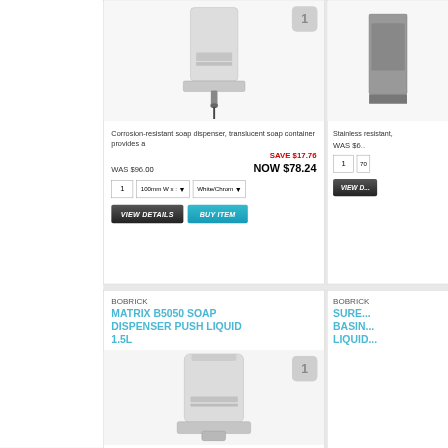[Figure (photo): Product photo of a corrosion-resistant soap dispenser, white color, mounted wall dispenser with translucent container]
Corrosion-resistant soap dispenser, translucent soap container provides a
SAVE $17.76
WAS $96.00
NOW $78.24
BOBRICK
MATRIX B5050 SOAP DISPENSER PUSH LIQUID 1.5L
[Figure (photo): Product photo of Bobrick Matrix B5050 soap dispenser, white push liquid dispenser 1.5L]
Stainless resistant,
WAS $6...
BOBRICK
SURE... BASIN... LIQUID...